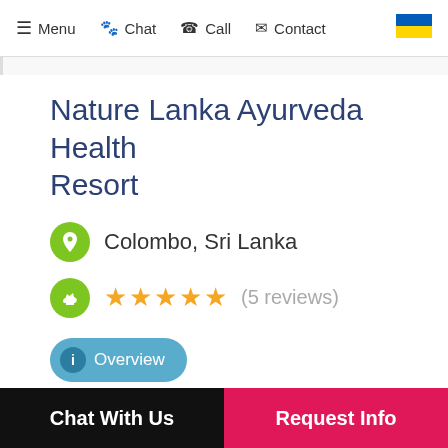≡ Menu  🐾 Chat  📞 Call  ✉ Contact
Nature Lanka Ayurveda Health Resort
Colombo, Sri Lanka
★★★★★ (5 reviews)
Overview
Nature Lanka Ayurveda Health Resort is a peaceful rejuvenation center in Sri Lanka to
Chat With Us  |  Request Info